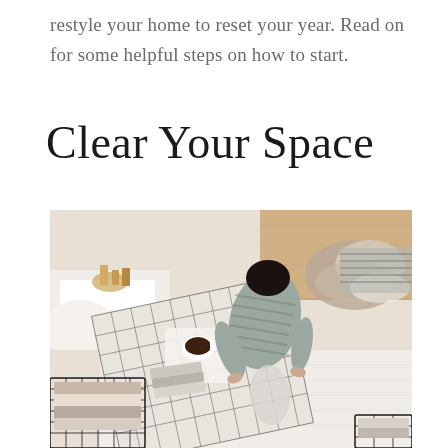restyle your home to reset your year. Read on for some helpful steps on how to start.
Clear Your Space
[Figure (photo): Aerial view of a woman in a grey striped outfit organizing/folding laundry and textiles on a bedroom floor, surrounded by folded clothes in wire baskets, a coffee cup on a tray, and piles of clothing.]